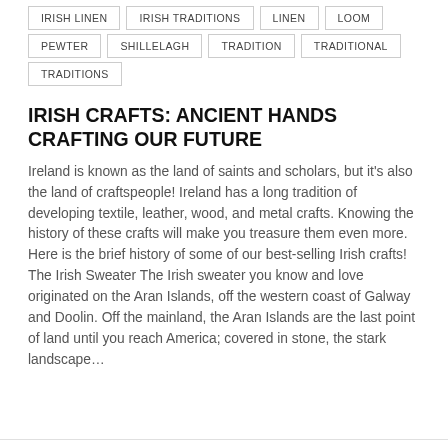IRISH LINEN   IRISH TRADITIONS   LINEN   LOOM
PEWTER   SHILLELAGH   TRADITION   TRADITIONAL
TRADITIONS
IRISH CRAFTS: ANCIENT HANDS CRAFTING OUR FUTURE
Ireland is known as the land of saints and scholars, but it's also the land of craftspeople! Ireland has a long tradition of developing textile, leather, wood, and metal crafts. Knowing the history of these crafts will make you treasure them even more. Here is the brief history of some of our best-selling Irish crafts! The Irish Sweater The Irish sweater you know and love originated on the Aran Islands, off the western coast of Galway and Doolin. Off the mainland, the Aran Islands are the last point of land until you reach America; covered in stone, the stark landscape...